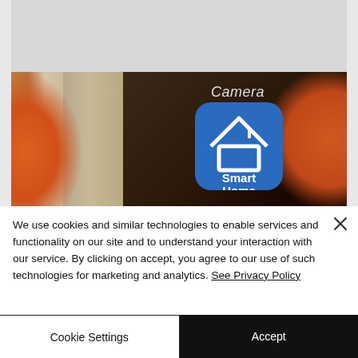[Figure (photo): Close-up photo of a smartphone screen showing a 'Smart Home' app icon (blue square with white house icon) and 'Camera' text, with blurred orange objects in the background and a metallic/beige phone frame visible.]
We use cookies and similar technologies to enable services and functionality on our site and to understand your interaction with our service. By clicking on accept, you agree to our use of such technologies for marketing and analytics. See Privacy Policy